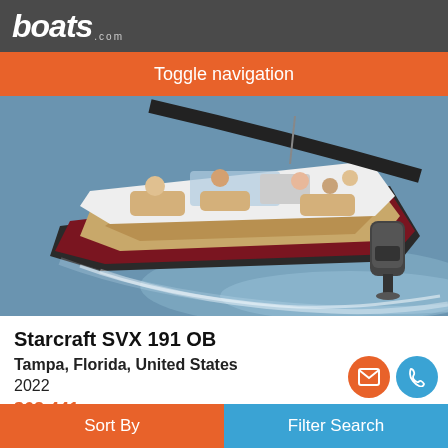boats.com
Toggle navigation
[Figure (photo): Aerial view of a Starcraft SVX 191 OB speedboat with multiple passengers on water, Yamaha outboard motor visible, boat moving at speed with wake behind it.]
Starcraft SVX 191 OB
Tampa, Florida, United States
2022
$68,441
Seller Nautical Ventures-Tampa Bay
Sort By    Filter Search